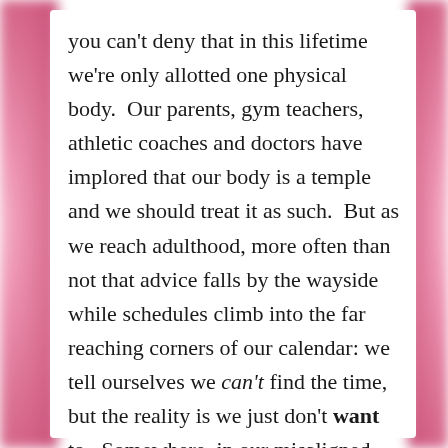you can't deny that in this lifetime we're only allotted one physical body.  Our parents, gym teachers, athletic coaches and doctors have implored that our body is a temple and we should treat it as such.  But as we reach adulthood, more often than not that advice falls by the wayside while schedules climb into the far reaching corners of our calendar: we tell ourselves we can't find the time, but the reality is we just don't want to.  Somewhere, in our misaligned, personalized version of Maslow's Hierarchy of Needs – whether it's because of the stress of a demanding job, an overbearing social schedule, or potentially even anxiety or